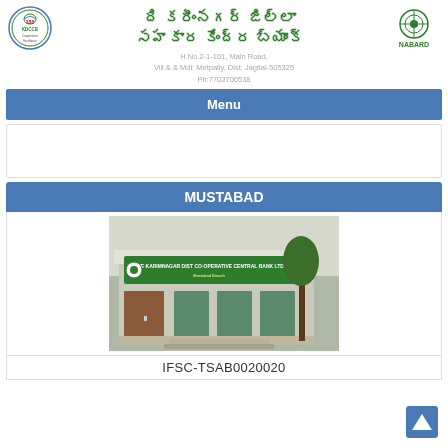ది కరీంనగర్ జిల్లా సహకార కేంద్ర బ్యాంక్
H.No.2-1-101, Main Road,
Vill & & Mdl: Metpally, Dist: Jagtial-505325
Ph:7702700538
Menu
MUSTABAD
[Figure (photo): Photograph of the Karimnagar District Co-operative Central Bank branch building at Mustabad, showing a green signboard with Telugu and English text.]
IFSC-TSAB0020020